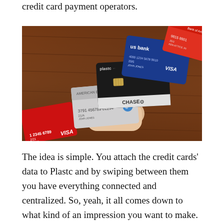credit card payment operators.
[Figure (photo): A hand holding multiple credit cards including a black Plastc card, a Chase card, a US Bank Visa card (blue), a red Visa card, and a Bank of America card, spread out on a wooden table background.]
The idea is simple. You attach the credit cards' data to Plastc and by swiping between them you have everything connected and centralized. So, yeah, it all comes down to what kind of an impression you want to make. Plastc is cool and simple, so it may be what